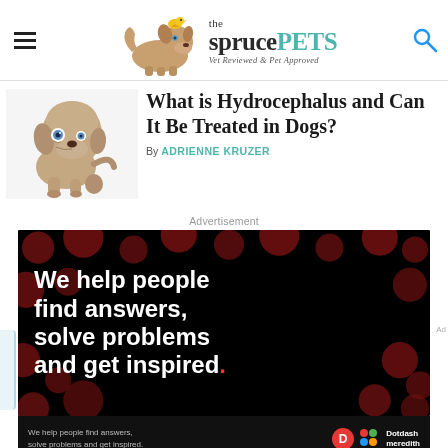[Figure (screenshot): The Spruce Pets website header with hamburger menu, dog logo with bird on head, 'the spruce PETS' wordmark, tagline 'Vet Reviewed & Pet Approved', and search icon]
What is Hydrocephalus and Can It Be Treated in Dogs?
By ADRIENNE KRUZER
Advertisement
[Figure (infographic): Black advertisement banner with dark red polka dots showing text: 'We help people find answers, solve problems and get inspired.' with Dotdash Meredith branding at bottom]